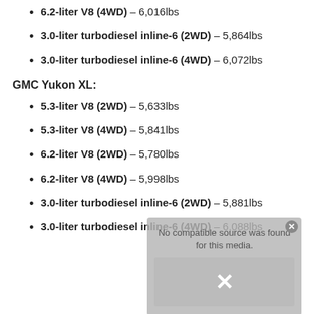6.2-liter V8 (4WD) – 6,016lbs
3.0-liter turbodiesel inline-6 (2WD) – 5,864lbs
3.0-liter turbodiesel inline-6 (4WD) – 6,072lbs
GMC Yukon XL:
5.3-liter V8 (2WD) – 5,633lbs
5.3-liter V8 (4WD) – 5,841lbs
6.2-liter V8 (2WD) – 5,780lbs
6.2-liter V8 (4WD) – 5,998lbs
3.0-liter turbodiesel inline-6 (2WD) – 5,881lbs
3.0-liter turbodiesel inline-6 (4WD) – 6,088lbs
[Figure (screenshot): Video overlay with 'No compatible source was found for this media.' message and a partially visible car image with an X button]